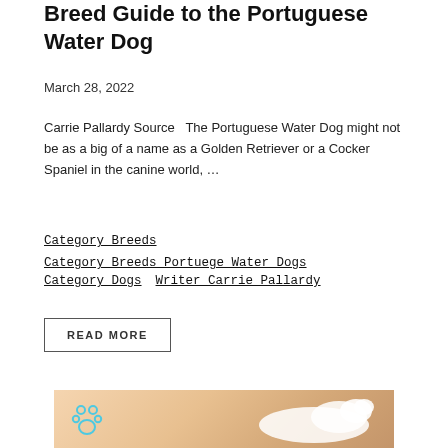Breed Guide to the Portuguese Water Dog
March 28, 2022
Carrie Pallardy Source   The Portuguese Water Dog might not be as a big of a name as a Golden Retriever or a Cocker Spaniel in the canine world, …
Category_Breeds
Category_Breeds_Portuege_Water_Dogs
Category_Dogs   Writer_Carrie_Pallardy
READ MORE
[Figure (photo): Photo of a white fluffy dog (likely a Portuguese Water Dog) on a warm-toned background, with a blue paw print logo on the left.]